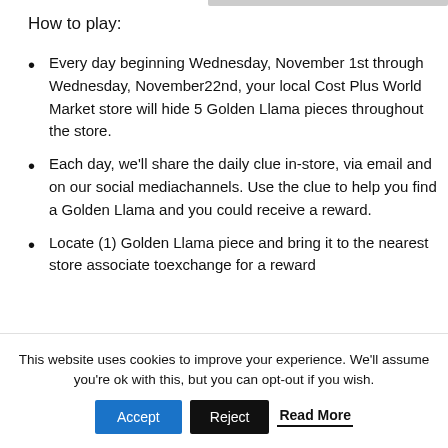How to play:
Every day beginning Wednesday, November 1st through Wednesday, November22nd, your local Cost Plus World Market store will hide 5 Golden Llama pieces throughout the store.
Each day, we'll share the daily clue in-store, via email and on our social mediachannels. Use the clue to help you find a Golden Llama and you could receive a reward.
Locate (1) Golden Llama piece and bring it to the nearest store associate toexchange for a reward
This website uses cookies to improve your experience. We'll assume you're ok with this, but you can opt-out if you wish.